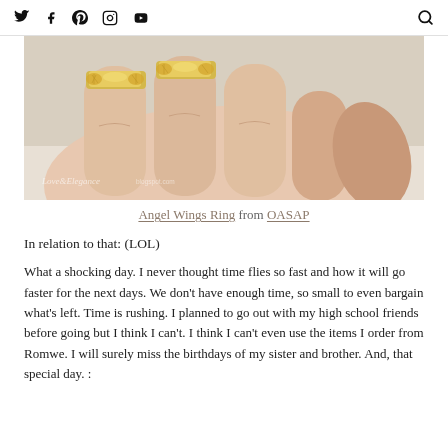Twitter Facebook Pinterest Instagram YouTube [search]
[Figure (photo): Close-up photo of a hand with knuckles curled, wearing two gold angel wings rings on the index and middle fingers. Watermark reads 'Love & Elegance blogspot.com']
Angel Wings Ring from OASAP
In relation to that: (LOL)
What a shocking day. I never thought time flies so fast and how it will go faster for the next days. We don't have enough time, so small to even bargain what's left. Time is rushing. I planned to go out with my high school friends before going but I think I can't. I think I can't even use the items I order from Romwe. I will surely miss the birthdays of my sister and brother. And, that special day. :